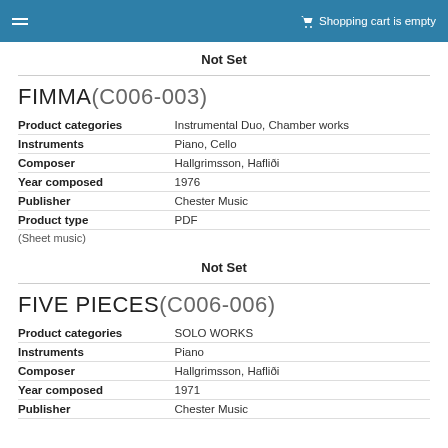Shopping cart is empty
Not Set
FIMMA(C006-003)
| Field | Value |
| --- | --- |
| Product categories | Instrumental Duo, Chamber works |
| Instruments | Piano, Cello |
| Composer | Hallgrimsson, Hafliði |
| Year composed | 1976 |
| Publisher | Chester Music |
| Product type | PDF |
(Sheet music)
Not Set
FIVE PIECES(C006-006)
| Field | Value |
| --- | --- |
| Product categories | SOLO WORKS |
| Instruments | Piano |
| Composer | Hallgrimsson, Hafliði |
| Year composed | 1971 |
| Publisher | Chester Music |